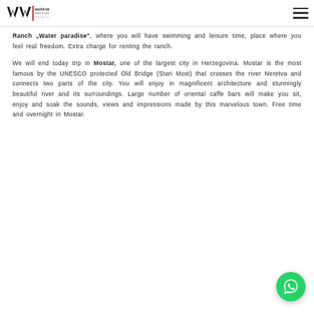World Wide Travel & Tourism
Ranch „Water paradise", where you will have swimming and leisure time, place where you feel real freedom. Extra charge for renting the ranch.
We will end today trip in Mostar, one of the largest city in Herzegovina. Mostar is the most famous by the UNESCO protected Old Bridge (Stari Most) that crosses the river Neretva and connects two parts of the city. You will enjoy in magnificent architecture and stunningly beautiful river and its surroundings. Large number of oriental caffe bars will make you sit, enjoy and soak the sounds, views and impressions made by this marvelous town. Free time and overnight in Mostar.